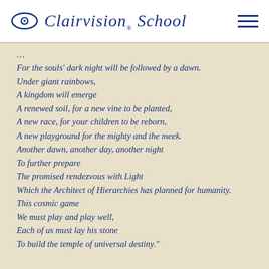Clairvision School
For the souls' dark night will be followed by a dawn.
Under giant rainbows,
A kingdom will emerge
A renewed soil, for a new vine to be planted,
A new race, for your children to be reborn,
A new playground for the mighty and the meek.
Another dawn, another day, another night
To further prepare
The promised rendezvous with Light
Which the Architect of Hierarchies has planned for humanity.
This cosmic game
We must play and play well,
Each of us must lay his stone
To build the temple of universal destiny."